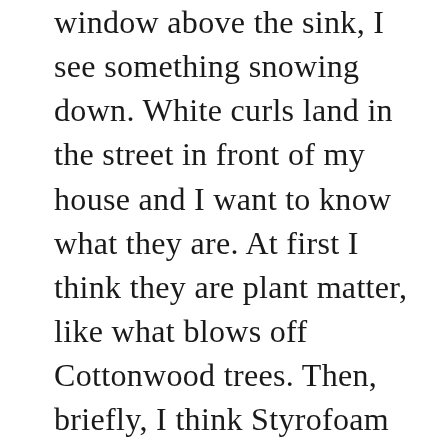window above the sink, I see something snowing down. White curls land in the street in front of my house and I want to know what they are. At first I think they are plant matter, like what blows off Cottonwood trees. Then, briefly, I think Styrofoam peanuts—someone left a box outside for trash and the packing material is